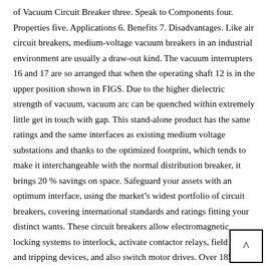of Vacuum Circuit Breaker three. Speak to Components four. Properties five. Applications 6. Benefits 7. Disadvantages. Like air circuit breakers, medium-voltage vacuum breakers in an industrial environment are usually a draw-out kind. The vacuum interrupters 16 and 17 are so arranged that when the operating shaft 12 is in the upper position shown in FIGS. Due to the higher dielectric strength of vacuum, vacuum arc can be quenched within extremely little get in touch with gap. This stand-alone product has the same ratings and the same interfaces as existing medium voltage substations and thanks to the optimized footprint, which tends to make it interchangeable with the normal distribution breaker, it brings 20 % savings on space. Safeguard your assets with an optimum interface, using the market's widest portfolio of circuit breakers, covering international standards and ratings fitting your distinct wants. These circuit breakers allow electromagnetic locking systems to interlock, activate contactor relays, field coils, and tripping devices, and also switch motor drives. Over 185,000 Toshiba vacuum circuit breakers and over two.7 million Toshiba vacuum inte